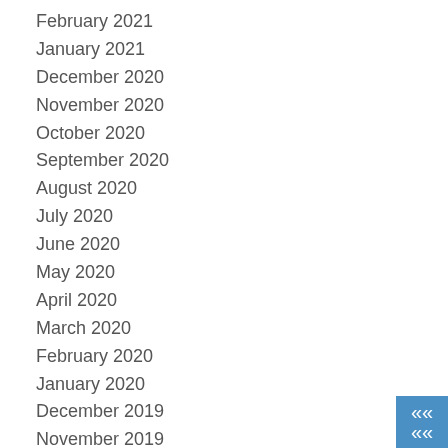February 2021
January 2021
December 2020
November 2020
October 2020
September 2020
August 2020
July 2020
June 2020
May 2020
April 2020
March 2020
February 2020
January 2020
December 2019
November 2019
October 2019